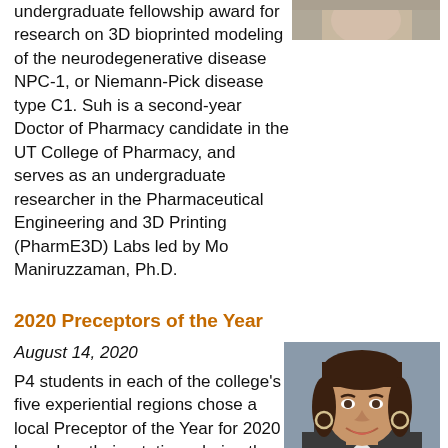undergraduate fellowship award for research on 3D bioprinted modeling of the neurodegenerative disease NPC-1, or Niemann-Pick disease type C1. Suh is a second-year Doctor of Pharmacy candidate in the UT College of Pharmacy, and serves as an undergraduate researcher in the Pharmaceutical Engineering and 3D Printing (PharmE3D) Labs led by Mo Maniruzzaman, Ph.D.
[Figure (photo): Partial photo of a person at the top of the page]
2020 Preceptors of the Year
August 14, 2020
P4 students in each of the college's five experiential regions chose a local Preceptor of the Year for 2020 based on their rotations during the 2019-20 academic year. Past recipients of the Wm. Arlyn Kloesel Preceptor of the Year award declared Kristin Janzen, Pharm.D. this year's winner.
[Figure (photo): Portrait photo of Kristin Janzen, a smiling woman with dark hair and hoop earrings, against a gray background]